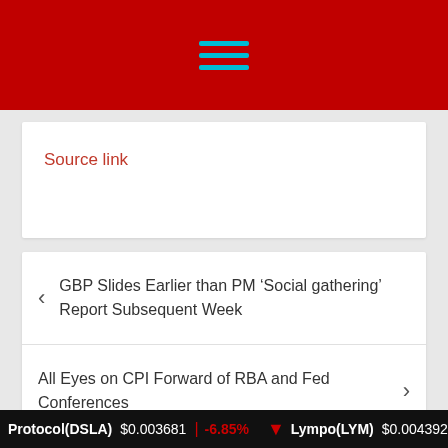Navigation menu header bar with hamburger icon
Source link
< GBP Slides Earlier than PM ‘Social gathering’ Report Subsequent Week
All Eyes on CPI Forward of RBA and Fed Conferences >
Leave a Reply
Protocol(DSLA) $0.003681 | -6.85% Lympo(LYM) $0.004392 | -4.4